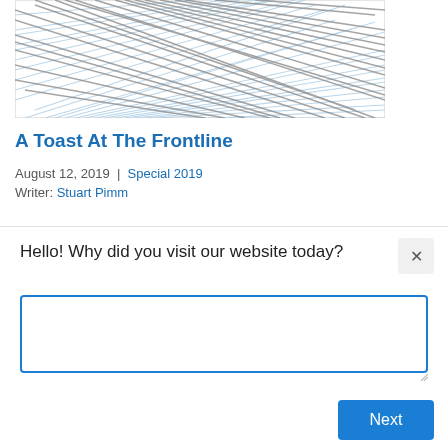[Figure (illustration): Abstract illustration showing overlapping diagonal lines in gray and light blue, resembling a hatching or wave pattern, partially cropped at top.]
A Toast At The Frontline
August 12, 2019  |  Special 2019
Writer: Stuart Pimm
Hello! Why did you visit our website today?
Next